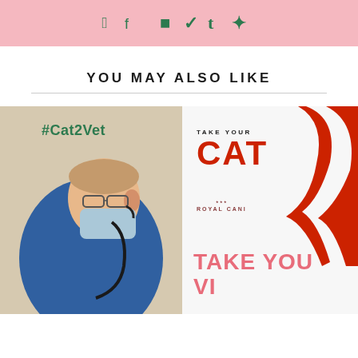Social share icons: Facebook, Twitter, Tumblr, Pinterest
YOU MAY ALSO LIKE
[Figure (photo): A veterinarian in blue scrubs and mask leaning over a patient using a stethoscope, with #Cat2Vet text overlay in green]
[Figure (infographic): Royal Canin 'Take Your Cat' campaign advertisement with red curved cat silhouette, bold red CAT text, Royal Canin logo, and pink 'TAKE YOU... VI...' text at bottom]